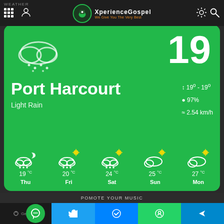WEATHER — XperienceGospel — We Give You The Very Best
[Figure (screenshot): Weather app screenshot showing Port Harcourt weather: Light Rain, 19°C current temperature, range 19°-19°, humidity 97%, wind 2.54 km/h. 5-day forecast: Thu 19°C, Fri 20°C, Sat 24°C, Sun 25°C, Mon 27°C.]
POMOTE YOUR MUSIC
GetButton | Twitter | Messenger | WhatsApp | Telegram